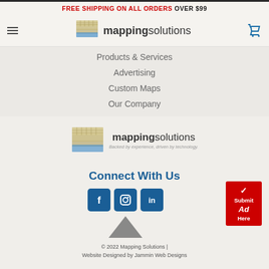FREE SHIPPING ON ALL ORDERS OVER $99
[Figure (logo): Mapping Solutions logo with layered grid icon and text 'mappingsolutions']
Products & Services
Advertising
Custom Maps
Our Company
[Figure (logo): Mapping Solutions footer logo with tagline 'Backed by experience, driven by technology.']
Connect With Us
[Figure (infographic): Social media icons: Facebook, Instagram, LinkedIn. Red 'Submit Ad Here' button with checkmark. Gray up-arrow chevron.]
© 2022 Mapping Solutions | Website Designed by Jammin Web Designs